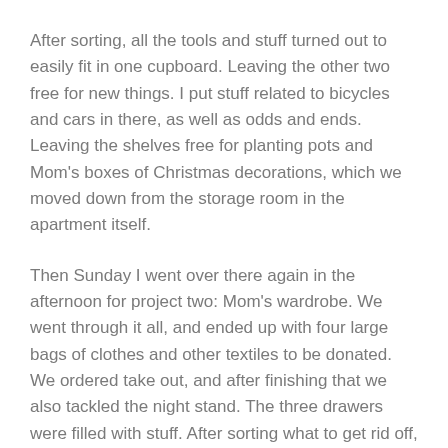After sorting, all the tools and stuff turned out to easily fit in one cupboard. Leaving the other two free for new things. I put stuff related to bicycles and cars in there, as well as odds and ends. Leaving the shelves free for planting pots and Mom's boxes of Christmas decorations, which we moved down from the storage room in the apartment itself.
Then Sunday I went over there again in the afternoon for project two: Mom's wardrobe. We went through it all, and ended up with four large bags of clothes and other textiles to be donated. We ordered take out, and after finishing that we also tackled the night stand. The three drawers were filled with stuff. After sorting what to get rid off, I consolidated all the jewelry in fewer boxes. This saved so much space that she can now actually see what she has in the drawers.